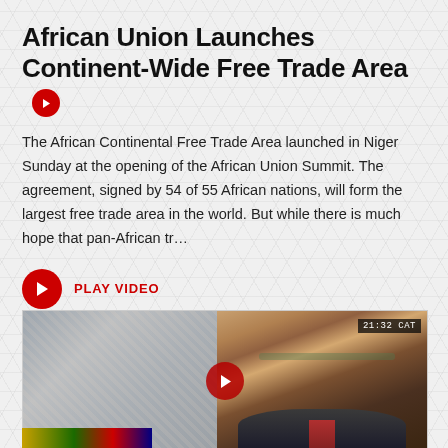African Union Launches Continent-Wide Free Trade Area
The African Continental Free Trade Area launched in Niger Sunday at the opening of the African Union Summit. The agreement, signed by 54 of 55 African nations, will form the largest free trade area in the world. But while there is much hope that pan-African tr...
PLAY VIDEO
[Figure (photo): Video thumbnail showing a man in a suit with glasses being interviewed, with a decorative background. A red play button is centered on the image. A timestamp reading 21:32 CAT appears in the top-right corner.]